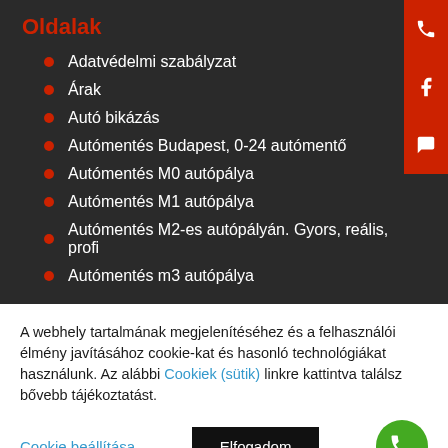Oldalak
Adatvédelmi szabályzat
Árak
Autó bikázás
Autómentés Budapest, 0-24 autómentő
Autómentés M0 autópálya
Autómentés M1 autópálya
Autómentés M2-es autópályán. Gyors, reális, profi
Autómentés m3 autópálya
A webhely tartalmának megjelenítéséhez és a felhasználói élmény javításához cookie-kat és hasonló technológiákat használunk. Az alábbi Cookiek (sütik) linkre kattintva találsz bővebb tájékoztatást.
Cookie beállítása | Elfogadom